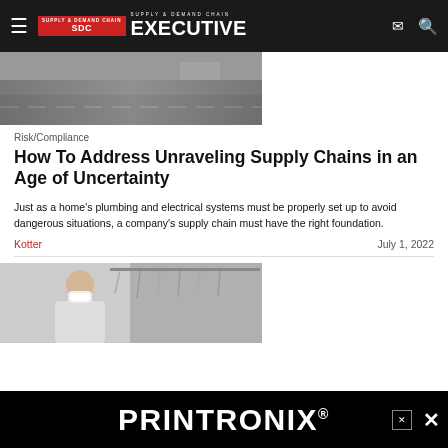Supply & Demand Chain Executive
[Figure (photo): Highway road with motion blur, vehicles visible in distance]
Risk/Compliance
How To Address Unraveling Supply Chains in an Age of Uncertainty
Just as a home's plumbing and electrical systems must be properly set up to avoid dangerous situations, a company's supply chain must have the right foundation.
Kotter
July 1, 2022
[Figure (photo): Woman wearing face mask browsing clothes in a retail store]
[Figure (other): Printronix advertisement banner at the bottom of the page]